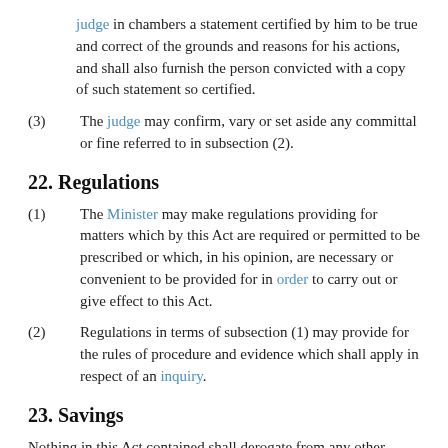judge in chambers a statement certified by him to be true and correct of the grounds and reasons for his actions, and shall also furnish the person convicted with a copy of such statement so certified.
(3) The judge may confirm, vary or set aside any committal or fine referred to in subsection (2).
22. Regulations
(1) The Minister may make regulations providing for matters which by this Act are required or permitted to be prescribed or which, in his opinion, are necessary or convenient to be provided for in order to carry out or give effect to this Act.
(2) Regulations in terms of subsection (1) may provide for the rules of procedure and evidence which shall apply in respect of an inquiry.
23. Savings
Nothing in this Act contained shall derogate from any other